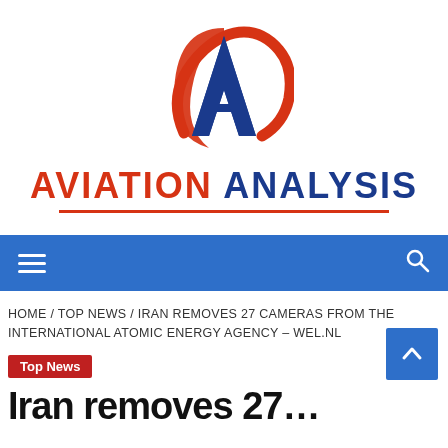[Figure (logo): Aviation Analysis logo: stylized letter A in blue with red swoosh/arc, centered above the brand name]
AVIATION ANALYSIS
Navigation bar with hamburger menu and search icon
HOME / TOP NEWS / IRAN REMOVES 27 CAMERAS FROM THE INTERNATIONAL ATOMIC ENERGY AGENCY – WEL.NL
Top News
Iran removes 27…